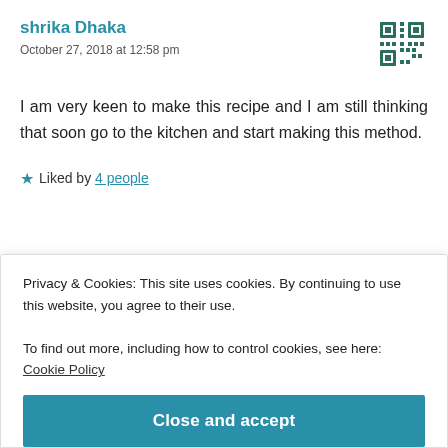shrika Dhaka
October 27, 2018 at 12:58 pm
[Figure (illustration): QR-code style decorative avatar icon in teal/dark green]
I am very keen to make this recipe and I am still thinking that soon go to the kitchen and start making this method.
★ Liked by 4 people
Reply
Privacy & Cookies: This site uses cookies. By continuing to use this website, you agree to their use.
To find out more, including how to control cookies, see here: Cookie Policy
Close and accept